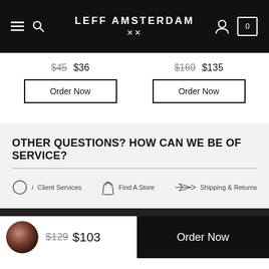LEFF AMSTERDAM
$45 $36
Order Now
$169 $135
Order Now
OTHER QUESTIONS? HOW CAN WE BE OF SERVICE?
Client Services
Find A Store
Shipping & Returns
$129 $103
Order Now